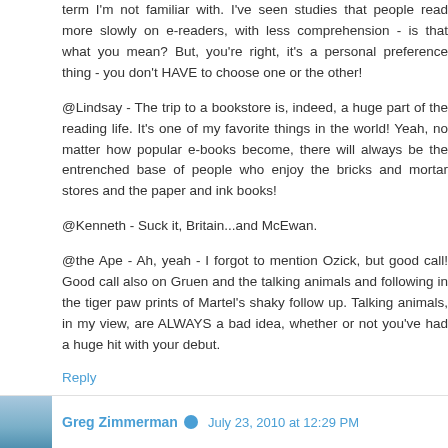term I'm not familiar with. I've seen studies that people read more slowly on e-readers, with less comprehension - is that what you mean? But, you're right, it's a personal preference thing - you don't HAVE to choose one or the other!
@Lindsay - The trip to a bookstore is, indeed, a huge part of the reading life. It's one of my favorite things in the world! Yeah, no matter how popular e-books become, there will always be the entrenched base of people who enjoy the bricks and mortar stores and the paper and ink books!
@Kenneth - Suck it, Britain...and McEwan.
@the Ape - Ah, yeah - I forgot to mention Ozick, but good call! Good call also on Gruen and the talking animals and following in the tiger paw prints of Martel's shaky follow up. Talking animals, in my view, are ALWAYS a bad idea, whether or not you've had a huge hit with your debut.
Reply
Greg Zimmerman   July 23, 2010 at 12:29 PM